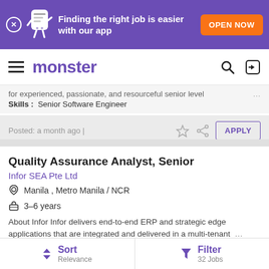[Figure (screenshot): Monster job board app banner with purple background, mascot, and orange OPEN NOW button]
monster
for experienced, passionate, and resourceful senior level ...
Skills : Senior Software Engineer
Posted: a month ago | APPLY
Quality Assurance Analyst, Senior
Infor SEA Pte Ltd
Manila , Metro Metro Manila / NCR
3-6 years
About Infor Infor delivers end-to-end ERP and strategic edge applications that are integrated and delivered in a multi-tenant ...
Sort Relevance | Filter 32 Jobs